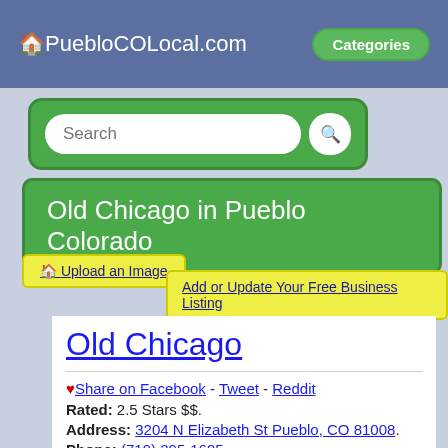🏠PuebloCOLocal.com  Categories
[Figure (screenshot): Search bar with green background and rounded input field]
Old Chicago in Pueblo Colorado
🏠 Upload an Image
Add or Update Your Free Business Listing
Old Chicago
♥ Share on Facebook - Tweet - Reddit
Rated: 2.5 Stars $$.
Address: 3204 N Elizabeth St Pueblo, CO 81008.
Phone: (719) 295-1695